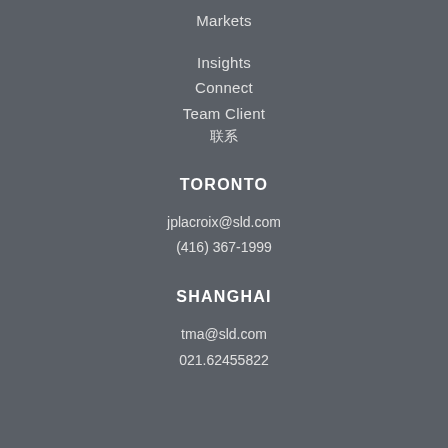Markets
Insights
Connect
Team Client
联系
TORONTO
jplacroix@sld.com
(416) 367-1999
SHANGHAI
tma@sld.com
021.62455822